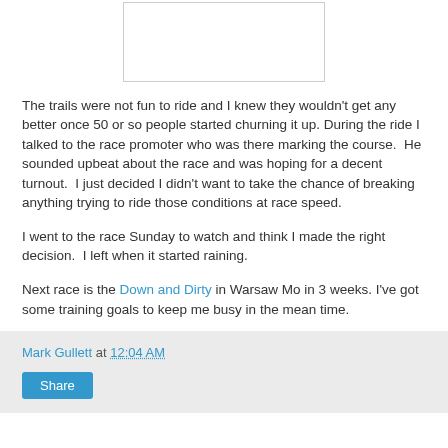[Figure (other): Blank white image placeholder with border]
The trails were not fun to ride and I knew they wouldn't get any better once 50 or so people started churning it up. During the ride I talked to the race promoter who was there marking the course.  He sounded upbeat about the race and was hoping for a decent turnout.  I just decided I didn't want to take the chance of breaking anything trying to ride those conditions at race speed.
I went to the race Sunday to watch and think I made the right decision.  I left when it started raining.
Next race is the Down and Dirty in Warsaw Mo in 3 weeks. I've got some training goals to keep me busy in the mean time.
Mark Gullett at 12:04 AM
Share